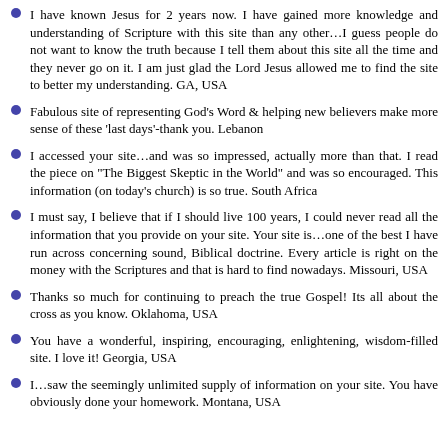I have known Jesus for 2 years now. I have gained more knowledge and understanding of Scripture with this site than any other…I guess people do not want to know the truth because I tell them about this site all the time and they never go on it. I am just glad the Lord Jesus allowed me to find the site to better my understanding. GA, USA
Fabulous site of representing God's Word & helping new believers make more sense of these 'last days'-thank you. Lebanon
I accessed your site…and was so impressed, actually more than that. I read the piece on "The Biggest Skeptic in the World" and was so encouraged. This information (on today's church) is so true. South Africa
I must say, I believe that if I should live 100 years, I could never read all the information that you provide on your site. Your site is…one of the best I have run across concerning sound, Biblical doctrine. Every article is right on the money with the Scriptures and that is hard to find nowadays. Missouri, USA
Thanks so much for continuing to preach the true Gospel! Its all about the cross as you know. Oklahoma, USA
You have a wonderful, inspiring, encouraging, enlightening, wisdom-filled site. I love it! Georgia, USA
I…saw the seemingly unlimited supply of information on your site. You have obviously done your homework. Montana, USA